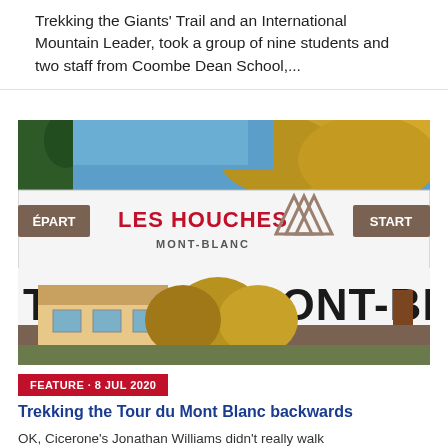Trekking the Giants' Trail and an International Mountain Leader, took a group of nine students and two staff from Coombe Dean School,...
[Figure (photo): Photo of a large white banner sign reading 'LES HOUCHES MONT-BLANC' with 'ÉPART' and 'START' labels, and 'TOUR DU MONT-BLANC' in large black text beneath it. Background shows autumn trees and a chalet-style building.]
FEATURE · 8 JUL 2020
Trekking the Tour du Mont Blanc backwards
OK, Cicerone's Jonathan Williams didn't really walk